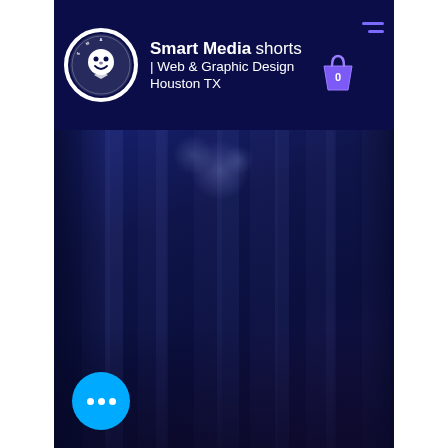Smart Media shorts | Web & Graphic Design Houston TX
[Figure (screenshot): Website header screenshot for Smart Media Shorts - Web & Graphic Design, Houston TX. Dark navy blue header bar with circular logo on the left, brand name text in center, shopping bag icon with '0' badge, and hamburger menu on the right. Below is a full-width dark bluish-purple hero image showing a blurred hallway/corridor with atmospheric lighting. A cyan/blue circular chat button with three dots is visible at the bottom left.]